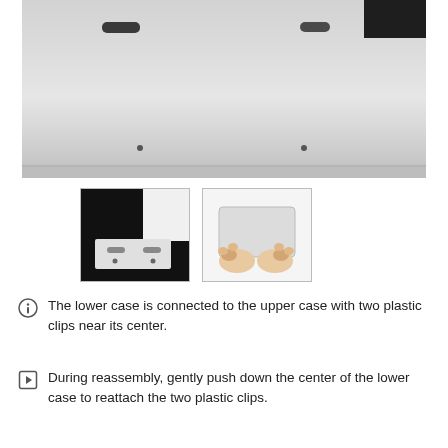[Figure (photo): Bottom view of a MacBook lower case showing two oval slots near top edge, two small screw dots in the middle area, and a bottom bar. Black corner piece visible top-right.]
[Figure (photo): Small thumbnail showing the inside of a MacBook lower case with black interior and white plastic sections, two slots visible.]
[Figure (photo): Small thumbnail showing two hands pressing down on the center of a MacBook lower case from above.]
The lower case is connected to the upper case with two plastic clips near its center.
During reassembly, gently push down the center of the lower case to reattach the two plastic clips.